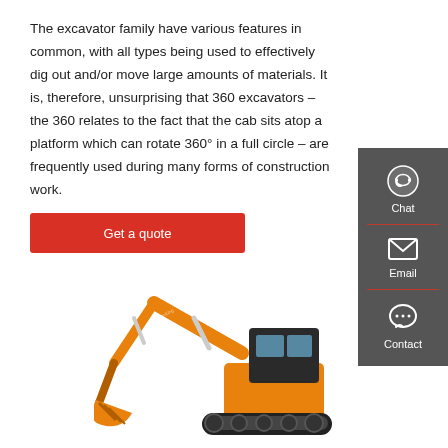The excavator family have various features in common, with all types being used to effectively dig out and/or move large amounts of materials. It is, therefore, unsurprising that 360 excavators – the 360 relates to the fact that the cab sits atop a platform which can rotate 360° in a full circle – are frequently used during many forms of construction work.
Get a quote
[Figure (illustration): Orange construction excavator/digger machine with extended arm and bucket, photographed from the side]
[Figure (infographic): Sidebar with three contact options: Chat (headset icon), Email (envelope icon), Contact (speech bubble icon), on dark grey background]